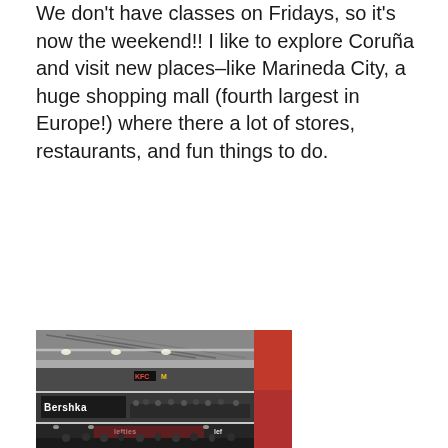We don't have classes on Fridays, so it's now the weekend!! I like to explore Coruña and visit new places–like Marineda City, a huge shopping mall (fourth largest in Europe!) where there a lot of stores, restaurants, and fun things to do.
[Figure (photo): Interior of Marineda City shopping mall showing multiple floors with stores including KFC, McDonald's, Bershka, and Lefties. Crowds of shoppers are visible on the lower level. A large red cylindrical structure is visible on the right side.]